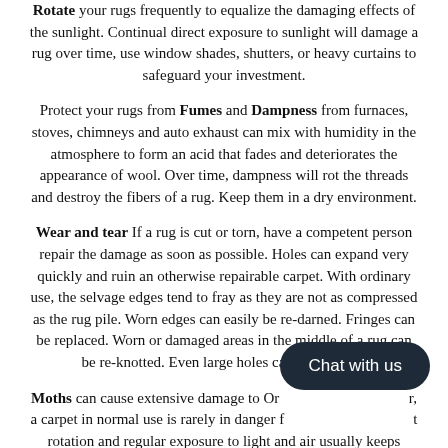Rotate your rugs frequently to equalize the damaging effects of the sunlight. Continual direct exposure to sunlight will damage a rug over time, use window shades, shutters, or heavy curtains to safeguard your investment.
Protect your rugs from Fumes and Dampness from furnaces, stoves, chimneys and auto exhaust can mix with humidity in the atmosphere to form an acid that fades and deteriorates the appearance of wool. Over time, dampness will rot the threads and destroy the fibers of a rug. Keep them in a dry environment.
Wear and tear If a rug is cut or torn, have a competent person repair the damage as soon as possible. Holes can expand very quickly and ruin an otherwise repairable carpet. With ordinary use, the selvage edges tend to fray as they are not as compressed as the rug pile. Worn edges can easily be re-darned. Fringes can be replaced. Worn or damaged areas in the middle of a rug can be re-knotted. Even large holes can be restored.
Moths can cause extensive damage to Oriental rugs; however, a carpet in normal use is rarely in danger from moths. Frequent rotation and regular exposure to light and air usually keeps moths at bay. Eliminate these pests and safeguard against their return by